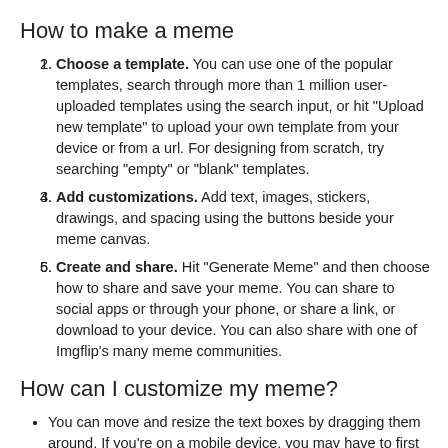How to make a meme
Choose a template. You can use one of the popular templates, search through more than 1 million user-uploaded templates using the search input, or hit "Upload new template" to upload your own template from your device or from a url. For designing from scratch, try searching "empty" or "blank" templates.
Add customizations. Add text, images, stickers, drawings, and spacing using the buttons beside your meme canvas.
Create and share. Hit "Generate Meme" and then choose how to share and save your meme. You can share to social apps or through your phone, or share a link, or download to your device. You can also share with one of Imgflip's many meme communities.
How can I customize my meme?
You can move and resize the text boxes by dragging them around. If you're on a mobile device, you may have to first check "enable drag/drop" in the More Options section. You can add as many additional text boxes as you want with the Add Text button.
You can customize the font color and outline color next to where you type your text.
You can further customize the font for each text box